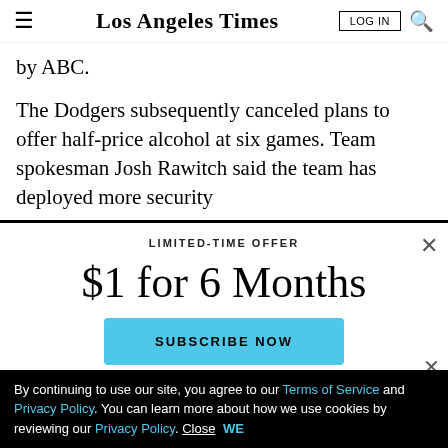Los Angeles Times
by ABC.
The Dodgers subsequently canceled plans to offer half-price alcohol at six games. Team spokesman Josh Rawitch said the team has deployed more security
LIMITED-TIME OFFER
$1 for 6 Months
SUBSCRIBE NOW
By continuing to use our site, you agree to our Terms of Service and Privacy Policy. You can learn more about how we use cookies by reviewing our Privacy Policy. Close